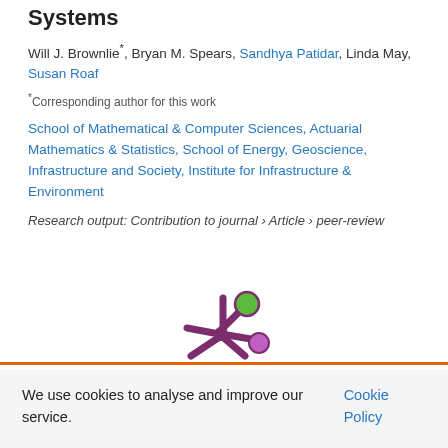Systems
Will J. Brownlie*, Bryan M. Spears, Sandhya Patidar, Linda May, Susan Roaf
*Corresponding author for this work
School of Mathematical & Computer Sciences, Actuarial Mathematics & Statistics, School of Energy, Geoscience, Infrastructure and Society, Institute for Infrastructure & Environment
Research output: Contribution to journal › Article › peer-review
[Figure (logo): Stylized asterisk/snowflake logo with green and purple circles on ends of arms, purple body, resembling a research portal or academic institution logo]
We use cookies to analyse and improve our service. Cookie Policy